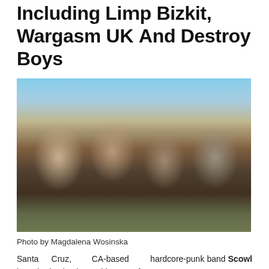Including Limp Bizkit, Wargasm UK And Destroy Boys
[Figure (photo): Four members of the band Scowl posing together outdoors near a car trunk, one wearing a Ramones t-shirt. Photo taken in a desert/urban setting with blue sky in background.]
Photo by Magdalena Wosinska
Santa Cruz, CA-based hardcore-punk band Scowl have had quite the exciting past few